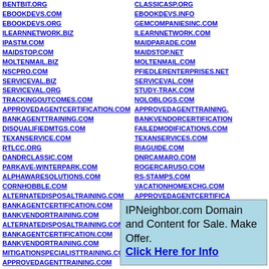BENTBIT.ORG
EBOOKDEVS.COM
EBOOKDEVS.ORG
ILEARNNETWORK.BIZ
IPASTM.COM
MAIDSTOP.COM
MOLTENMAIL.BIZ
NSCPRO.COM
SERVICEVAL.BIZ
SERVICEVAL.ORG
TRACKINGOUTCOMES.COM
APPROVEDAGENTCERTIFICATION.COM
BANKAGENTTRAINING.COM
DISQUALIFIEDMTGS.COM
TEXANSERVICE.COM
RTLCC.ORG
DANDRCLASSIC.COM
PARKAVE-WINTERPARK.COM
ALPHAWARESOLUTIONS.COM
CORNHOBBLE.COM
ALTERNATEDISPOSALTRAINING.COM
BANKAGENTCERTIFICATION.COM
BANKVENDORTRAINING.COM
ALTERNATEDISPOSALTRAINING.COM
BANKAGENTCERTIFICATION.COM
BANKVENDORTRAINING.COM
MITIGATIONSPECIALISTTRAINING.CO
APPROVEDAGENTTRAINING.COM
CLASSICASP.ORG
EBOOKDEVS.INFO
GEMCOMPANIESINC.COM
ILEARNNETWORK.COM
MAIDPARADE.COM
MAIDSTOP.NET
MOLTENMAIL.COM
PFIEDLERENTERPRISES.NET
SERVICEVAL.COM
STUDY-TRAK.COM
NOLOBLOGS.COM
APPROVEDAGENTTRAINING.
BANKVENDORCERTIFICATION
FAILEDMODIFICATIONS.COM
TEXANSERVICES.COM
RIAGUIDE.COM
DNRCAMARO.COM
ROGERCARUSO.COM
RS-STAMPS.COM
VACATIONHOMEXCHG.COM
APPROVEDAGENTCERTIFICA
BANKAGENTTRAINING.COM
DISQUALIFIEDMTGS.COM
IPNeighbor.com Domain and Content for Sale. Make Offer. Click Here for Info